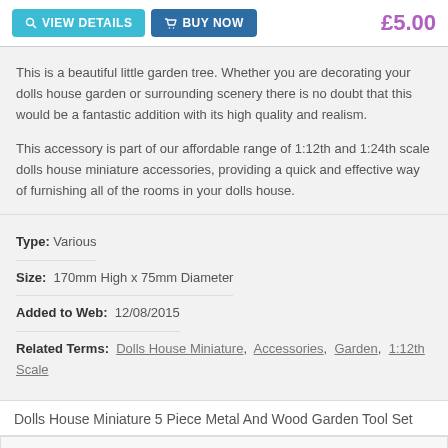VIEW DETAILS  BUY NOW  £5.00
This is a beautiful little garden tree. Whether you are decorating your dolls house garden or surrounding scenery there is no doubt that this would be a fantastic addition with its high quality and realism.
This accessory is part of our affordable range of 1:12th and 1:24th scale dolls house miniature accessories, providing a quick and effective way of furnishing all of the rooms in your dolls house.
Type: Various
Size:  170mm High x 75mm Diameter
Added to Web:  12/08/2015
Related Terms:  Dolls House Miniature, Accessories, Garden, 1:12th Scale
Dolls House Miniature 5 Piece Metal And Wood Garden Tool Set
[Figure (photo): Photo of garden tool set - a metal and wood tool partially visible at the bottom of the image section]